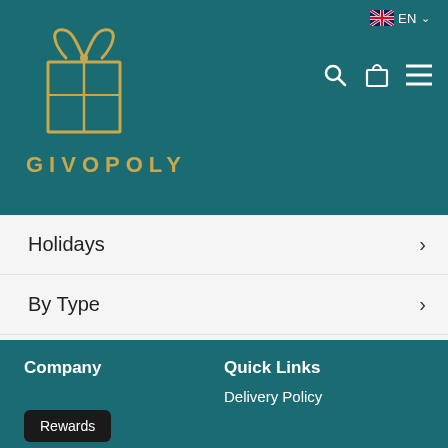[Figure (logo): Givopoly logo with gift box icon in gold/tan and teal background, text GIVOPOLY in gold spaced letters]
[Figure (screenshot): Language selector showing UK flag, EN text and dropdown arrow, plus search, cart and hamburger menu icons in white on teal header]
Holidays
By Type
By Price
Partners
(613) 702-1132
Company
Quick Links
Delivery Policy
Rewards